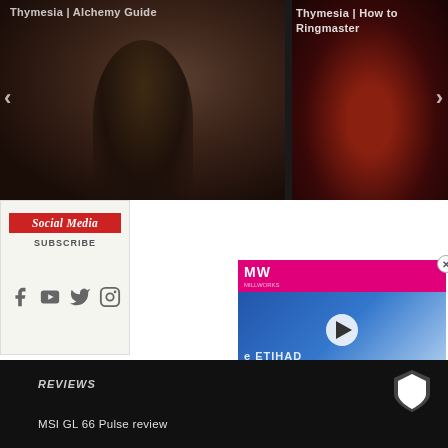[Figure (screenshot): Gaming website screenshot showing two Thymesia game guide thumbnails in a slider. Left slide shows dark fantasy character figure with text 'Thymesia | Alchemy Guide'. Right slide shows reddish dark sky scene with text 'Thymesia | How to Ringmaster'. Navigation arrows visible on left and right sides.]
Thymesia | Alchemy Guide
Thymesia | How to Ringmaster
Social Media
SUBSCRIBE
[Figure (screenshot): Video overlay showing MW logo on pink/magenta header, football/soccer scene with ETIHAD stadium signage and a player, play button in center, with caption 'EA SPORTS AND FIFA ARE PARTING WAYS']
REVIEWS
MSI GL 66 Pulse review